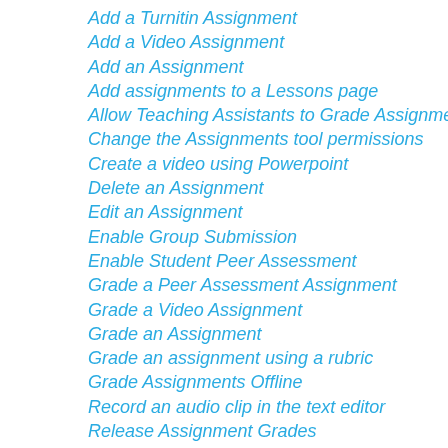Add a Turnitin Assignment
Add a Video Assignment
Add an Assignment
Add assignments to a Lessons page
Allow Teaching Assistants to Grade Assignments
Change the Assignments tool permissions
Create a video using Powerpoint
Delete an Assignment
Edit an Assignment
Enable Group Submission
Enable Student Peer Assessment
Grade a Peer Assessment Assignment
Grade a Video Assignment
Grade an Assignment
Grade an assignment using a rubric
Grade Assignments Offline
Record an audio clip in the text editor
Release Assignment Grades
Resubmit an Assignment
Send Assignment grades to Gradebook
Share video from my phone